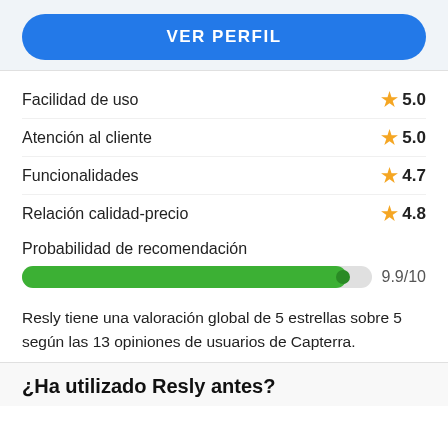[Figure (other): Blue rounded button labeled VER PERFIL]
Facilidad de uso ★ 5.0
Atención al cliente ★ 5.0
Funcionalidades ★ 4.7
Relación calidad-precio ★ 4.8
Probabilidad de recomendación
[Figure (bar-chart): Probabilidad de recomendación]
Resly tiene una valoración global de 5 estrellas sobre 5 según las 13 opiniones de usuarios de Capterra.
¿Ha utilizado Resly antes?